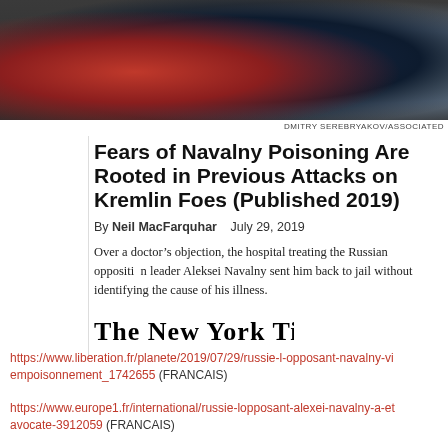[Figure (photo): Crowd of people in winter clothing, including someone in a red jacket, someone in a dark navy jacket, and someone in a grey scarf]
DMITRY SEREBRYAKOV/ASSOCIATED
Fears of Navalny Poisoning Are Rooted in Previous Attacks on Kremlin Foes (Published 2019)
By Neil MacFarquhar   July 29, 2019
Over a doctor's objection, the hospital treating the Russian opposition leader Aleksei Navalny sent him back to jail without identifying the cause of his illness.
[Figure (logo): The New York Times masthead logo in blackletter font]
https://www.liberation.fr/planete/2019/07/29/russie-l-opposant-navalny-vi... empoisonnement_1742655 (FRANCAIS)
https://www.europe1.fr/international/russie-lopposant-alexei-navalny-a-et... avocate-3912059 (FRANCAIS)